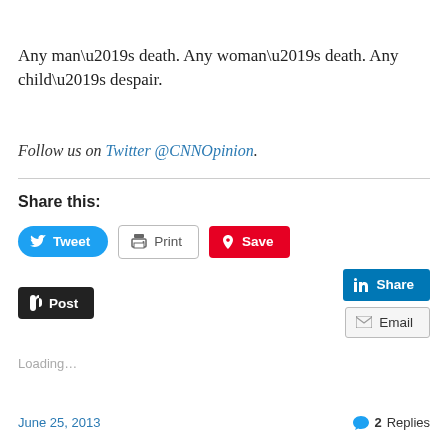Any man’s death. Any woman’s death. Any child’s despair.
Follow us on Twitter @CNNOpinion.
Share this:
[Figure (screenshot): Social share buttons: Tweet, Print, Save, Share (LinkedIn), Post (Tumblr), Email]
Loading…
June 25, 2013 | 2 Replies